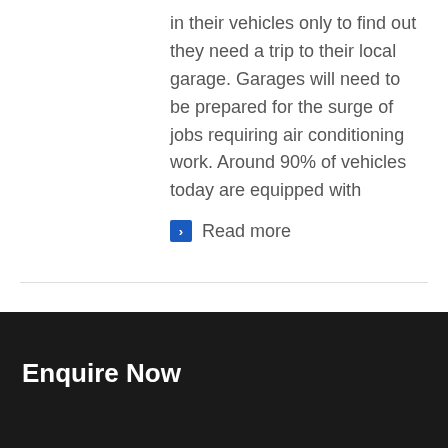in their vehicles only to find out they need a trip to their local garage. Garages will need to be prepared for the surge of jobs requiring air conditioning work. Around 90% of vehicles today are equipped with
Read more
Enquire Now